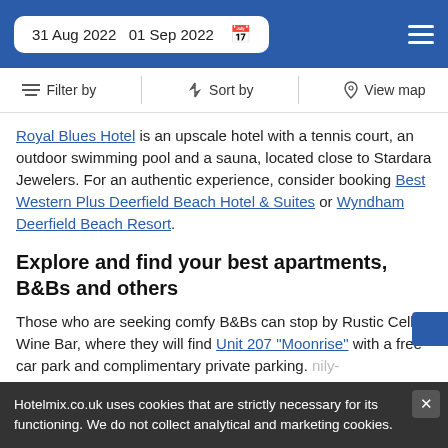31 Aug 2022  01 Sep 2022
Filter by  Sort by  View map
Royal Blues Hotel is an upscale hotel with a tennis court, an outdoor swimming pool and a sauna, located close to Stardara Jewelers. For an authentic experience, consider booking Best Western Plus Deerfield Beach Hotel & Suites or Wyndham Deerfield Beach Resort.
Explore and find your best apartments, B&Bs and others
Those who are seeking comfy B&Bs can stop by Rustic Cellar Wine Bar, where they will find Unit 207 "Moonrise" with a free car park and complimentary private parking. ... oriented hotel that has a tennis court, an outdoor swimming pool and a golf course. La Quinta Inn & Suites
Hotelmix.co.uk uses cookies that are strictly necessary for its functioning. We do not collect analytical and marketing cookies.